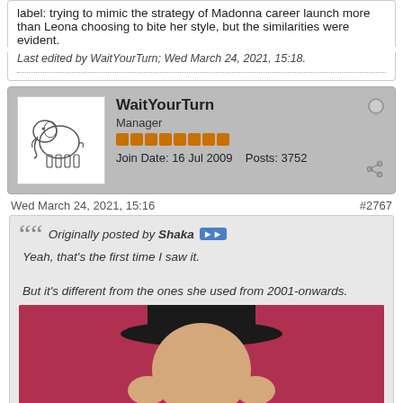label: trying to mimic the strategy of Madonna career launch more than Leona choosing to bite her style, but the similarities were evident.
Last edited by WaitYourTurn; Wed March 24, 2021, 15:18.
WaitYourTurn
Manager
Join Date: 16 Jul 2009   Posts: 3752
Wed March 24, 2021, 15:16
#2767
Originally posted by Shaka
Yeah, that's the first time I saw it.
But it's different from the ones she used from 2001-onwards.
[Figure (photo): Photo of a person wearing a black hat against a dark red/maroon background, cropped at bottom of page]